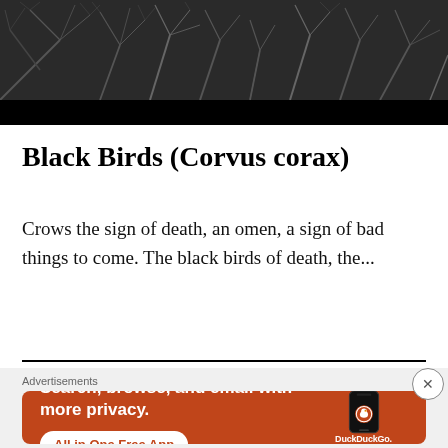[Figure (photo): Dark black and white photo of bare tree branches against a dark sky, with a solid black bar at the bottom]
Black Birds (Corvus corax)
Crows the sign of death, an omen, a sign of bad things to come. The black birds of death, the...
[Figure (screenshot): DuckDuckGo advertisement with orange background. Text reads: Search, browse, and email with more privacy. All in One Free App. Shows a phone mockup with the DuckDuckGo logo.]